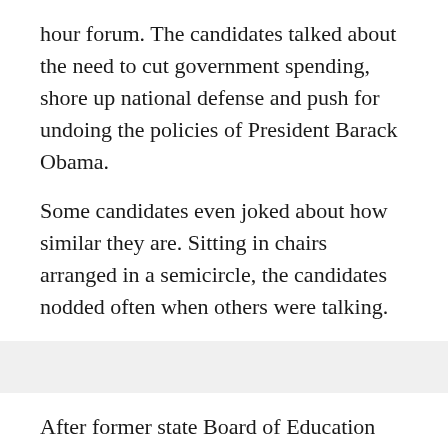hour forum. The candidates talked about the need to cut government spending, shore up national defense and push for undoing the policies of President Barack Obama.
Some candidates even joked about how similar they are. Sitting in chairs arranged in a semicircle, the candidates nodded often when others were talking.
After former state Board of Education member Peg Littleton talked about opposing Common Core education standards, Glenn joked, "If anybody in here supports Common Core they need to get off the stage right now."